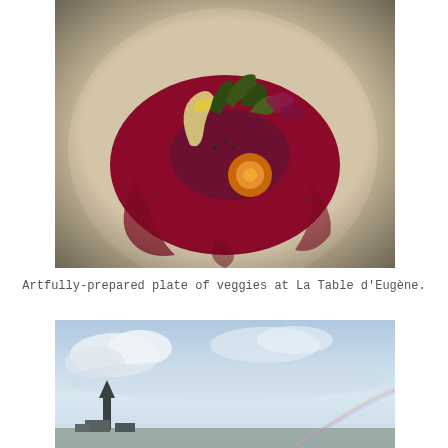[Figure (photo): Artfully-prepared plate of veggies with vibrant red beet sauce on a ceramic plate, garnished with microgreens and edible flowers, at La Table d'Eugène.]
Artfully-prepared plate of veggies at La Table d'Eugène.
[Figure (photo): Outdoor sky photo with clouds and a church steeple visible in the lower left, with a faint rainbow on the right side.]